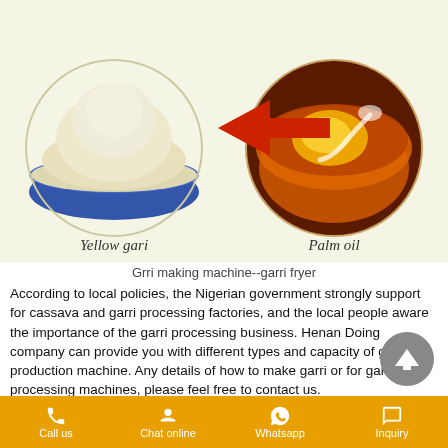[Figure (illustration): Diagram showing yellow gari (cream-colored powder in a blue bowl) on the left connected by a red leftward arrow to palm oil (reddish-brown oil in a glass bowl with a spoon) on the right, with labels 'Yellow gari' and 'Palm oil']
Grri making machine--garri fryer
According to local policies, the Nigerian government strongly support for cassava and garri processing factories, and the local people aware the importance of the garri processing business. Henan Doing company can provide you with different types and capacity of garri production machine. Any details of how to make garri or for garri processing machines, please feel free to contact us.
DOING garri processing machine making garri is a reasonable processing converts fresh cassava roots into safer, more marketable, better-tasting garri products by:
Call us   Chat online   Whatsapp   Inquiry